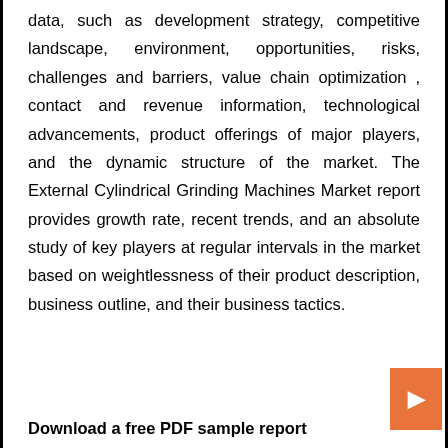data, such as development strategy, competitive landscape, environment, opportunities, risks, challenges and barriers, value chain optimization , contact and revenue information, technological advancements, product offerings of major players, and the dynamic structure of the market. The External Cylindrical Grinding Machines Market report provides growth rate, recent trends, and an absolute study of key players at regular intervals in the market based on weightlessness of their product description, business outline, and their business tactics.
Download a free PDF sample report